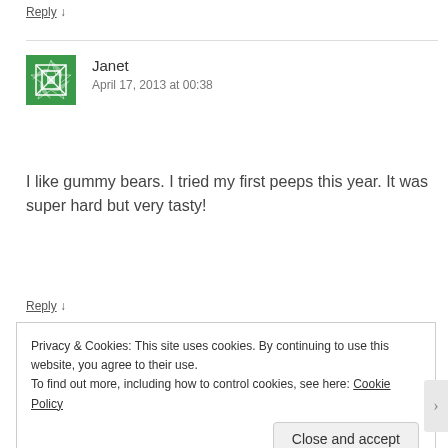Reply ↓
[Figure (illustration): Green geometric/floral avatar icon for user Janet]
Janet
April 17, 2013 at 00:38
I like gummy bears. I tried my first peeps this year. It was super hard but very tasty!
Reply ↓
Privacy & Cookies: This site uses cookies. By continuing to use this website, you agree to their use.
To find out more, including how to control cookies, see here: Cookie Policy
Close and accept